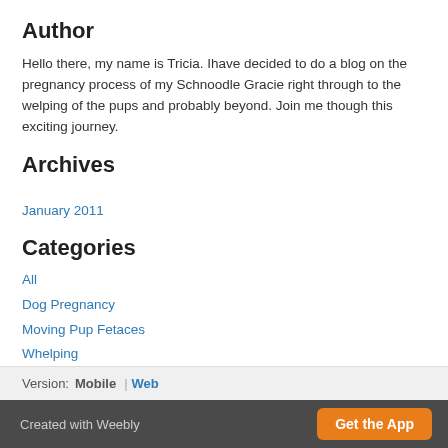Author
Hello there, my name is Tricia. Ihave decided to do a blog on the pregnancy process of my Schnoodle Gracie right through to the welping of the pups and probably beyond. Join me though this exciting journey.
Archives
January 2011
Categories
All
Dog Pregnancy
Moving Pup Fetaces
Whelping
RSS Feed
Version: Mobile | Web
Created with Weebly | Get the App